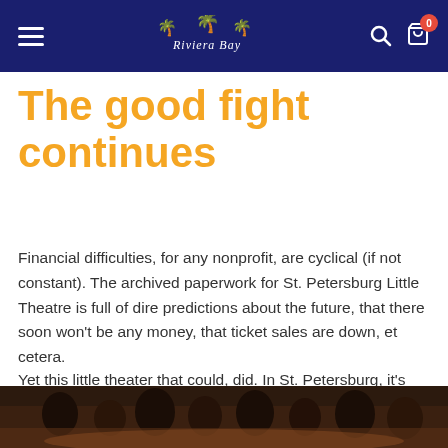Riviera Bay navigation bar with hamburger menu, logo, search and cart icons
The good fight continues
Financial difficulties, for any nonprofit, are cyclical (if not constant). The archived paperwork for St. Petersburg Little Theatre is full of dire predictions about the future, that there soon won't be any money, that ticket sales are down, et cetera.
Yet this little theater that could, did. In St. Petersburg, it's King of Rebound Hill.
[Figure (photo): Bottom strip showing people on a theater stage or at an event, partially visible]